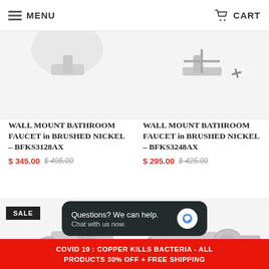MENU   CART
[Figure (photo): Top portion of wall mount bathroom faucet in brushed nickel, partial view]
[Figure (photo): Top portion of wall mount bathroom faucet in brushed nickel with cross handles, partial view]
WALL MOUNT BATHROOM FAUCET in BRUSHED NICKEL – BFKS3128AX
$ 345.00  $ 495.00
WALL MOUNT BATHROOM FAUCET in BRUSHED NICKEL – BFKS3248AX
$ 295.00  $ 425.00
[Figure (photo): Wall mount bathroom faucet with SALE badge, brushed nickel finish with knurled handles]
[Figure (photo): Wall mount bathroom faucet with SALE badge, brushed nickel finish with single lever]
Questions? We can help. Chat with us now.
COVID 19 : COPPER KILLS BACTERIA - ALL PRODUCTS 30% OFF + FREE SHIPPING